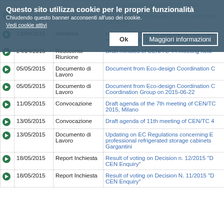Questo sito utilizza cookie per le proprie funzionalità
Chiudendo questo banner acconsenti all'uso dei cookie.
Vedi cookie attivi
Ok | Maggiori informazioni
|  | Date | Type | Description |
| --- | --- | --- | --- |
| ▶ | 23/04/2015 | Votazione | Decision... freezers cabinets for professional use - conditions" |
| ▶ | 23/04/2015 | Inchiesta | prEN 16855 "Walk-in cold rooms - Definition methods - Part 1:Prefabricated cold room |
| ▶ | 24/04/2015 | Resoconto Riunione | Draft minutes of CEN/TC 44 meeting held |
| ▶ | 05/05/2015 | Documento di Lavoro | Document from Eco-design Coordination C |
| ▶ | 05/05/2015 | Documento di Lavoro | Document from Eco-design Coordination C Coordination Group on 2015-06-22 |
| ▶ | 11/05/2015 | Convocazione | Draft agenda of the 7th meeting of CEN/TC 2015, Milano |
| ▶ | 13/05/2015 | Convocazione | Draft agenda of 11th meeting of CEN/TC 4 |
| ▶ | 13/05/2015 | Documento di Lavoro | Updating on EC Regulations concerning E professional refrigerated storage cabinets Gargantini |
| ▶ | 18/05/2015 | Report Inchiesta | Result of voting on Decision n. 12/2015 "D CEN Enquiry" |
| ▶ | 18/05/2015 | Report Inchiesta | Result of voting on Decision N. 11/2015 "D CEN Enquiry" |